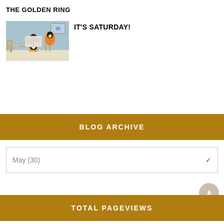THE GOLDEN RING
[Figure (photo): Pingu cartoon scene showing a penguin reading a large book at a table in a kitchen/living room setting with blue walls and another penguin in the background]
IT'S SATURDAY!
BLOG ARCHIVE
May (30)
TOTAL PAGEVIEWS